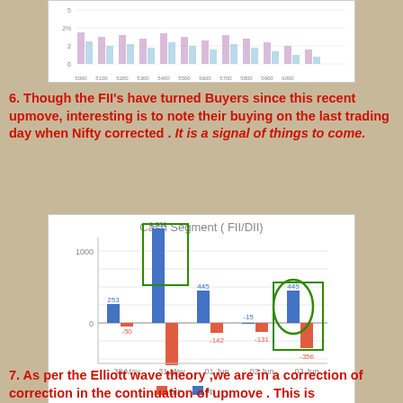[Figure (bar-chart): Partial bar chart visible at top of page showing grouped bars across strike price ranges]
6. Though the FII's have turned Buyers since this recent upmove, interesting is to note their buying on the last trading day when Nifty corrected . It is a signal of things to come.
[Figure (grouped-bar-chart): Cash Segment ( FII/DII)]
7. As per the Elliott wave theory ,we are in a correction of correction in the continuation of upmove . This is continuation of